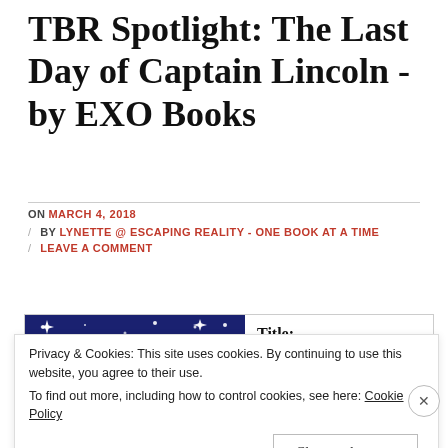TBR Spotlight: The Last Day of Captain Lincoln - by EXO Books
ON MARCH 4, 2018 / BY LYNETTE @ ESCAPING REALITY - ONE BOOK AT A TIME / LEAVE A COMMENT
[Figure (illustration): Dark blue banner image with sparkles and stars and red text reading THE LAST DAY]
Title: The
Privacy & Cookies: This site uses cookies. By continuing to use this website, you agree to their use. To find out more, including how to control cookies, see here: Cookie Policy
Close and accept